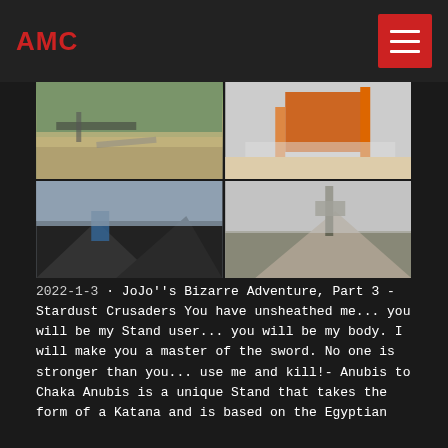AMC
[Figure (photo): Four-panel image grid showing industrial mining/quarry equipment and crushed rock/gravel piles. Top-left: open quarry site with conveyor belts and rock piles in a green hillside. Top-right: orange industrial crushing/sorting machine with conveyor. Bottom-left: dark gravel/rock piles with trees and blue machinery. Bottom-right: large gravel/crushed stone pile with machinery.]
2022-1-3 · JoJo''s Bizarre Adventure, Part 3 - Stardust Crusaders You have unsheathed me... you will be my Stand user... you will be my body. I will make you a master of the sword. No one is stronger than you... use me and kill!- Anubis to Chaka Anubis is a unique Stand that takes the form of a Katana and is based on the Egyptian